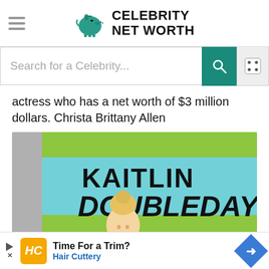Celebrity Net Worth
Search for a Celebrity...
actress who has a net worth of $3 million dollars. Christa Brittany Allen
[Figure (photo): Photo of Kaitlin Doubleday with her name displayed on a green and teal background sign behind her]
Time For a Trim? Hair Cuttery